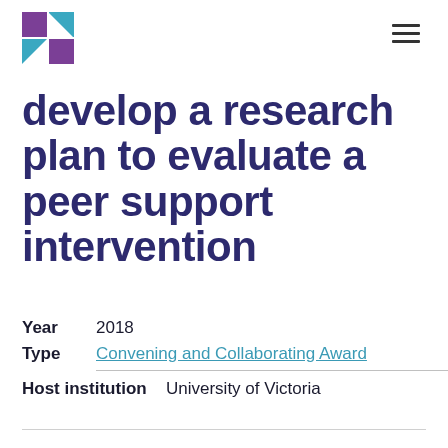Logo and navigation
develop a research plan to evaluate a peer support intervention
Year  2018
Type  Convening and Collaborating Award
Host institution  University of Victoria